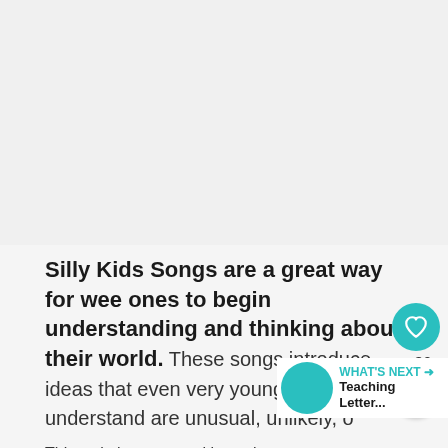[Figure (other): Gray placeholder / ad area at the top of the page]
Silly Kids Songs are a great way for wee ones to begin understanding and thinking about their world. These songs introduce ideas that even very young children understand are unusual, unlikely, o…
This website uses cookies to improve your experience. We'll assume you're ok with this, but you can opt-out if you wish.
More